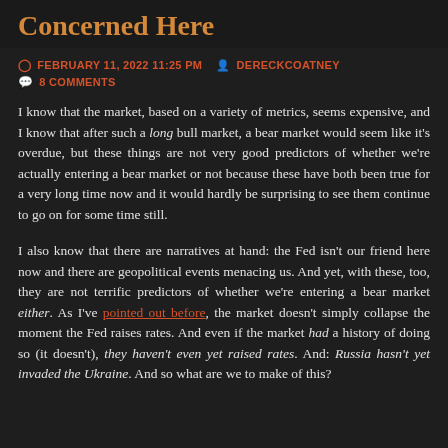Concerned Here
FEBRUARY 11, 2022 11:25 PM  DERECKCOATNEY  8 COMMENTS
I know that the market, based on a variety of metrics, seems expensive, and I know that after such a long bull market, a bear market would seem like it's overdue, but these things are not very good predictors of whether we're actually entering a bear market or not because these have both been true for a very long time now and it would hardly be surprising to see them continue to go on for some time still.
I also know that there are narratives at hand: the Fed isn't our friend here now and there are geopolitical events menacing us. And yet, with these, too, they are not terrific predictors of whether we're entering a bear market either. As I've pointed out before, the market doesn't simply collapse the moment the Fed raises rates. And even if the market had a history of doing so (it doesn't), they haven't even yet raised rates. And: Russia hasn't yet invaded the Ukraine. And so what are we to make of this?